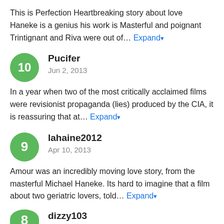This is Perfection Heartbreaking story about love
Haneke is a genius his work is Masterful and poignant
Trintignant and Riva were out of… Expand
Pucifer
Jun 2, 2013
In a year when two of the most critically acclaimed films were revisionist propaganda (lies) produced by the CIA, it is reassuring that at… Expand
lahaine2012
Apr 10, 2013
Amour was an incredibly moving love story, from the masterful Michael Haneke. Its hard to imagine that a film about two geriatric lovers, told… Expand
dizzy103